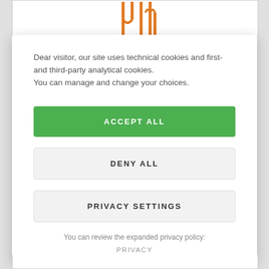[Figure (illustration): Orange logo/icon partially visible at the top of the background page behind the cookie consent modal]
Dear visitor, our site uses technical cookies and first- and third-party analytical cookies.
You can manage and change your choices.
ACCEPT ALL
DENY ALL
PRIVACY SETTINGS
You can review the expanded privacy policy:
PRIVACY